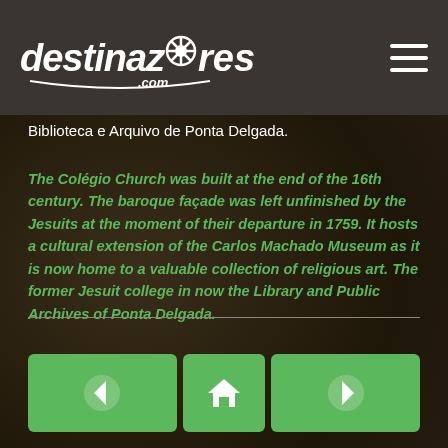[Figure (logo): Destinazores.com website logo with white italic text and decorative gear/snowflake symbol, with curved underline, on dark grey header bar]
Biblioteca e Arquivo de Ponta Delgada.
The Colégio Church was built at the end of the 16th century. The baroque façade was left unfinished by the Jesuits at the moment of their departure in 1759. It hosts a cultural extension of the Carlos Machado Museum as it is now home to a valuable collection of religious art. The former Jesuit college in now the Library and Public Archives of Ponta Delgada.
[Figure (infographic): Three green navigation buttons at bottom: left arrow (previous), home icon (home), right arrow (next)]